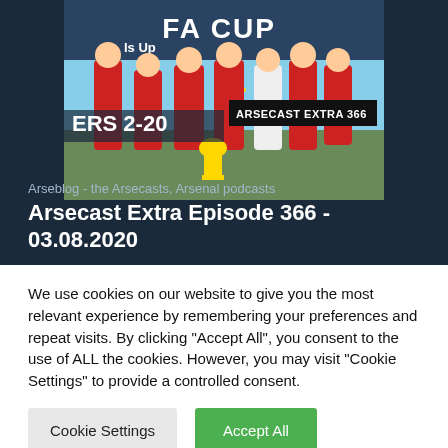[Figure (screenshot): Podcast thumbnail showing Arsenal players celebrating FA Cup win with trophy, overlaid text reading 'ARSECAST EXTRA 366']
Arseblog - the Arsecasts, Arsenal podcasts
Arsecast Extra Episode 366 - 03.08.2020
We use cookies on our website to give you the most relevant experience by remembering your preferences and repeat visits. By clicking "Accept All", you consent to the use of ALL the cookies. However, you may visit "Cookie Settings" to provide a controlled consent.
Cookie Settings
Accept All